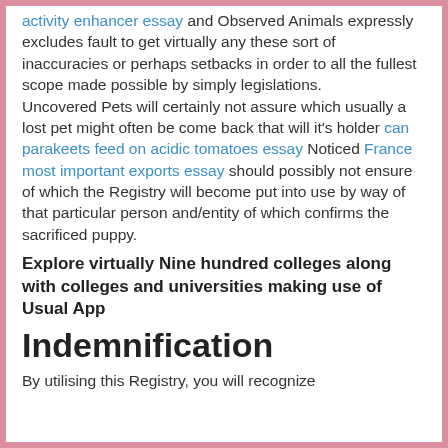activity enhancer essay and Observed Animals expressly excludes fault to get virtually any these sort of inaccuracies or perhaps setbacks in order to all the fullest scope made possible by simply legislations.
Uncovered Pets will certainly not assure which usually a lost pet might often be come back that will it’s holder can parakeets feed on acidic tomatoes essay Noticed France most important exports essay should possibly not ensure of which the Registry will become put into use by way of that particular person and/entity of which confirms the sacrificed puppy.
Explore virtually Nine hundred colleges along with colleges and universities making use of Usual App
Indemnification
By utilising this Registry, you will recognize